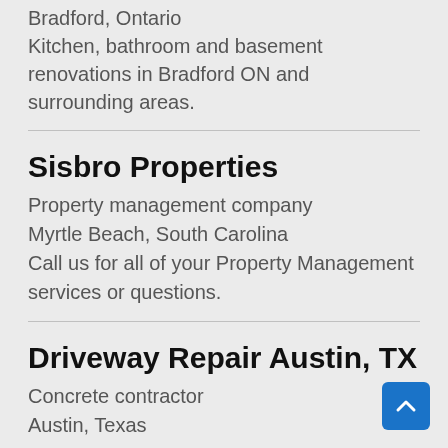Bradford, Ontario
Kitchen, bathroom and basement renovations in Bradford ON and surrounding areas.
Sisbro Properties
Property management company
Myrtle Beach, South Carolina
Call us for all of your Property Management services or questions.
Driveway Repair Austin, TX
Concrete contractor
Austin, Texas